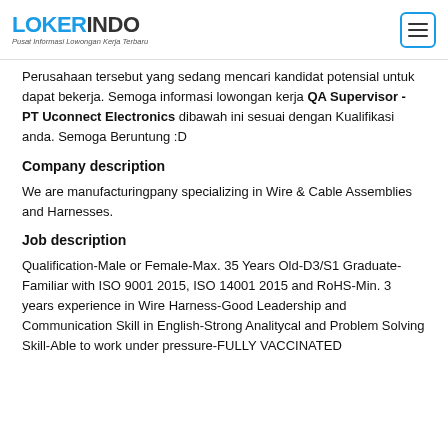LOKERINDO - Pusat Informasi Lowongan Kerja Terbaru
Perusahaan tersebut yang sedang mencari kandidat potensial untuk dapat bekerja. Semoga informasi lowongan kerja QA Supervisor - PT Uconnect Electronics dibawah ini sesuai dengan Kualifikasi anda. Semoga Beruntung :D
Company description
We are manufacturingpany specializing in Wire & Cable Assemblies and Harnesses.
Job description
Qualification-Male or Female-Max. 35 Years Old-D3/S1 Graduate-Familiar with ISO 9001 2015, ISO 14001 2015 and RoHS-Min. 3 years experience in Wire Harness-Good Leadership and Communication Skill in English-Strong Analitycal and Problem Solving Skill-Able to work under pressure-FULLY VACCINATED